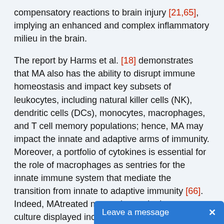compensatory reactions to brain injury [21,65], implying an enhanced and complex inflammatory milieu in the brain.
The report by Harms et al. [18] demonstrates that MA also has the ability to disrupt immune homeostasis and impact key subsets of leukocytes, including natural killer cells (NK), dendritic cells (DCs), monocytes, macrophages, and T cell memory populations; hence, MA may impact the innate and adaptive arms of immunity. Moreover, a portfolio of cytokines is essential for the role of macrophages as sentries for the innate immune system that mediate the transition from innate to adaptive immunity [66]. Indeed, MAtreated macrophages in tissue culture displayed increased levels of pro-inflammatory cytokine TNF-α, whereas similar cells stimulated with lipopolysaccharide (LPS) showed increased amounts of IL-1β and IL-8 in addition to TNF-α [67]. Recently, it was reported that MA altered the expression of pro-inflammatory cytokines such as TNF-α and IL-6 upon LPS stimu[20]. Taken together, our data s